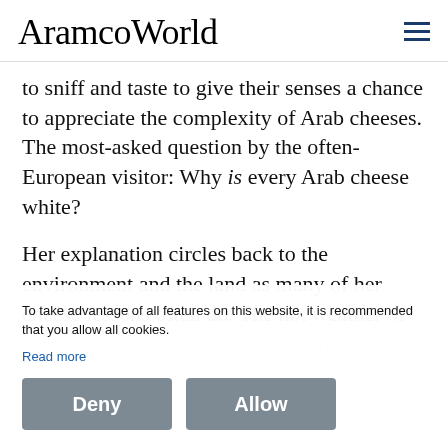AramcoWorld
to sniff and taste to give their senses a chance to appreciate the complexity of Arab cheeses. The most-asked question by the often-European visitor: Why is every Arab cheese white?
Her explanation circles back to the environment and the land as many of her cheese lessons often do. The hot weather of Jordan, she says, creates a fast fermentation, which is what makes the color…
To take advantage of all features on this website, it is recommended that you allow all cookies.
Read more